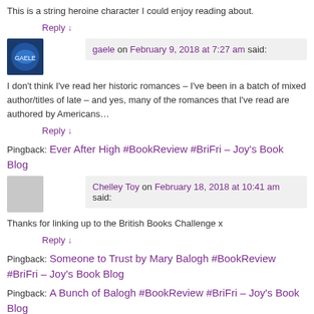This is a string heroine character I could enjoy reading about.
Reply ↓
gaele on February 9, 2018 at 7:27 am said:
I don't think I've read her historic romances – I've been in a batch of mixed author/titles of late – and yes, many of the romances that I've read are authored by Americans…
Reply ↓
Pingback: Ever After High #BookReview #BriFri – Joy's Book Blog
Chelley Toy on February 18, 2018 at 10:41 am said:
Thanks for linking up to the British Books Challenge x
Reply ↓
Pingback: Someone to Trust by Mary Balogh #BookReview #BriFri – Joy's Book Blog
Pingback: A Bunch of Balogh #BookReview #BriFri – Joy's Book Blog